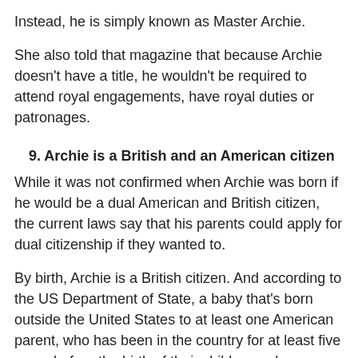Instead, he is simply known as Master Archie.
She also told that magazine that because Archie doesn't have a title, he wouldn't be required to attend royal engagements, have royal duties or patronages.
9. Archie is a British and an American citizen
While it was not confirmed when Archie was born if he would be a dual American and British citizen, the current laws say that his parents could apply for dual citizenship if they wanted to.
By birth, Archie is a British citizen. And according to the US Department of State, a baby that's born outside the United States to at least one American parent, who has been in the country for at least five years before the birth of their child, can also acquire US citizenship.